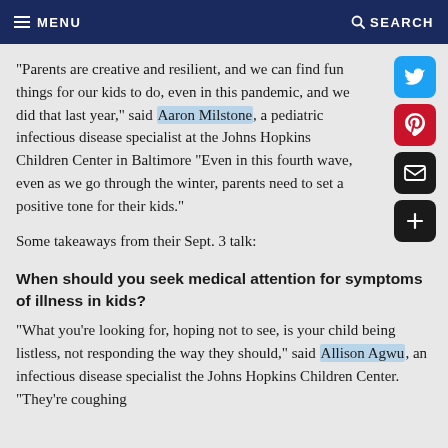MENU  SEARCH
"Parents are creative and resilient, and we can find fun things for our kids to do, even in this pandemic, and we did that last year," said Aaron Milstone, a pediatric infectious disease specialist at the Johns Hopkins Children Center in Baltimore "Even in this fourth wave, even as we go through the winter, parents need to set a positive tone for their kids."
Some takeaways from their Sept. 3 talk:
When should you seek medical attention for symptoms of illness in kids?
"What you're looking for, hoping not to see, is your child being listless, not responding the way they should," said Allison Agwu, an infectious disease specialist the Johns Hopkins Children Center. "They're coughing